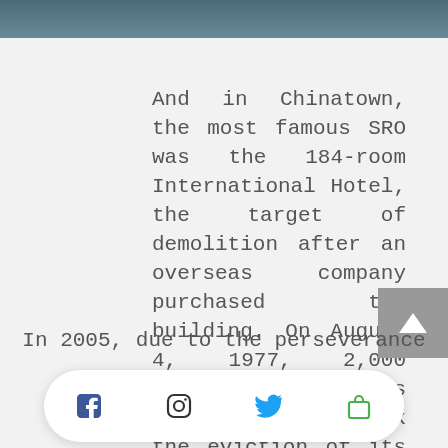[Figure (photo): Partial photo strip at top of page, showing muted blue-gray tones]
And in Chinatown, the most famous SRO was the 184-room International Hotel, the target of demolition after an overseas company purchased the building. On August 4, 1977, 2,000 housing activists linked arms to block the eviction of its mainly Filipino and Chinese residents. Police avoided the ground level protestors and entered the building via the rooftop with the help of a ladder from a fire truck. The building was eventually demolished, but the movement to s[...]s
In 2005, due to the perseverance
[Figure (screenshot): Mobile app bottom navigation bar with Facebook, Instagram, Twitter, and shopping bag icons on white rounded pill background]